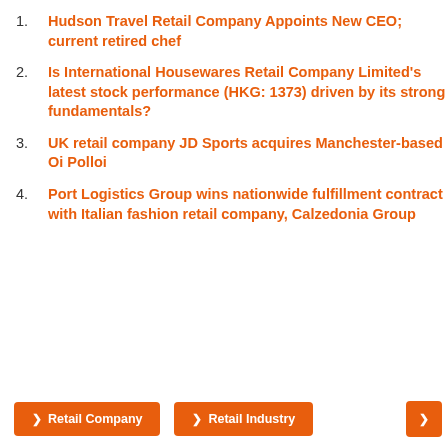Hudson Travel Retail Company Appoints New CEO; current retired chef
Is International Housewares Retail Company Limited's latest stock performance (HKG: 1373) driven by its strong fundamentals?
UK retail company JD Sports acquires Manchester-based Oi Polloi
Port Logistics Group wins nationwide fulfillment contract with Italian fashion retail company, Calzedonia Group
❯ Retail Company   ❯ Retail Industry   ❯